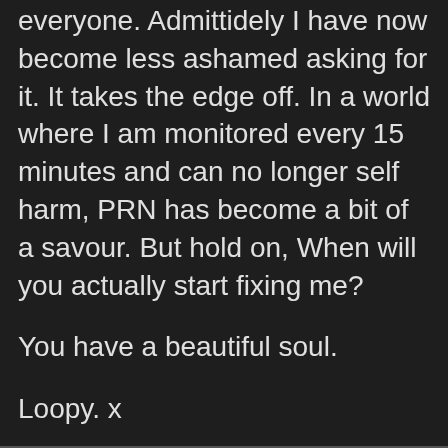everyone.  Admittidely I have now become less ashamed asking for it.  It takes the edge off.  In a world where I am monitored every 15 minutes and can no longer self harm, PRN has become a bit of a savour.  But hold on, When will you actually start fixing me?
You have a beautiful soul.
Loopy. x